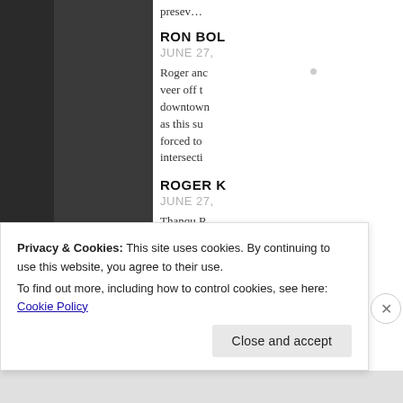presev…
RON BOL…
JUNE 27,…
Roger and… veer off t… downtown… as this su… forced to… intersecti…
ROGER K…
JUNE 27,…
Thanqu R…
IMO this i… en… ou…
Privacy & Cookies: This site uses cookies. By continuing to use this website, you agree to their use. To find out more, including how to control cookies, see here: Cookie Policy
Close and accept